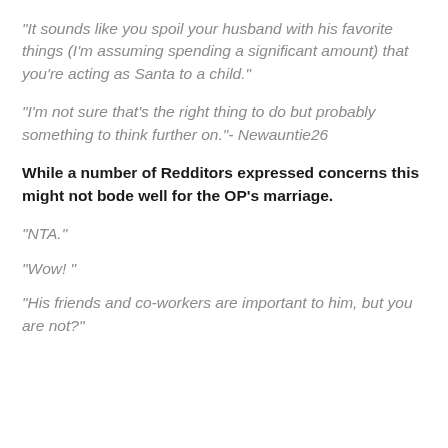“It sounds like you spoil your husband with his favorite things (I’m assuming spending a significant amount) that you’re acting as Santa to a child.”
“I’m not sure that’s the right thing to do but probably something to think further on.”- Newauntie26
While a number of Redditors expressed concerns this might not bode well for the OP’s marriage.
“NTA.”
“Wow! ”
“His friends and co-workers are important to him, but you are not?”